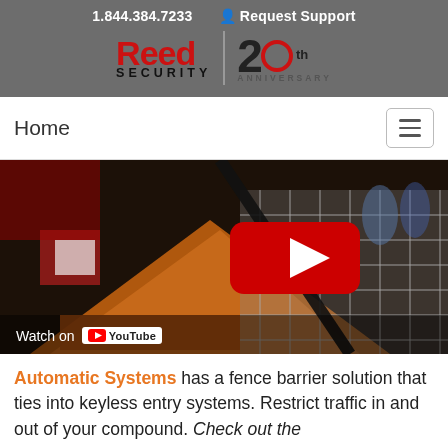1.844.384.7233   Request Support
[Figure (logo): Reed Security 20th Anniversary logo on grey background]
Home
[Figure (screenshot): YouTube video thumbnail showing an automatic fence barrier security system at a trade show. Includes red YouTube play button and 'Watch on YouTube' label.]
Automatic Systems has a fence barrier solution that ties into keyless entry systems. Restrict traffic in and out of your compound. Check out the